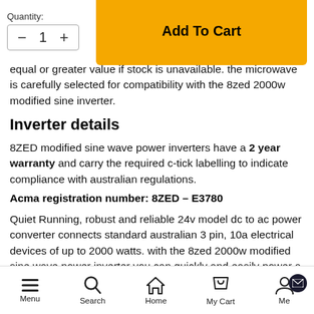Quantity: [quantity selector] [Add To Cart button]
equal or greater value if stock is unavailable. the microwave is carefully selected for compatibility with the 8zed 2000w modified sine inverter.
Inverter details
8ZED modified sine wave power inverters have a 2 year warranty and carry the required c-tick labelling to indicate compliance with australian regulations.
Acma registration number: 8ZED – E3780
Quiet Running, robust and reliable 24v model dc to ac power converter connects standard australian 3 pin, 10a electrical devices of up to 2000 watts. with the 8zed 2000w modified sine wave power inverter you can quickly and easily power a whole range of
Menu  Search  Home  My Cart  Me